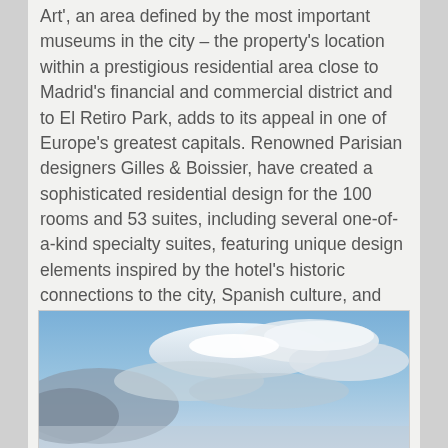Art', an area defined by the most important museums in the city – the property's location within a prestigious residential area close to Madrid's financial and commercial district and to El Retiro Park, adds to its appeal in one of Europe's greatest capitals. Renowned Parisian designers Gilles & Boissier, have created a sophisticated residential design for the 100 rooms and 53 suites, including several one-of-a-kind specialty suites, featuring unique design elements inspired by the hotel's historic connections to the city, Spanish culture, and art.
[Figure (photo): Outdoor sky photograph showing blue sky with white and grey clouds, likely an exterior view.]